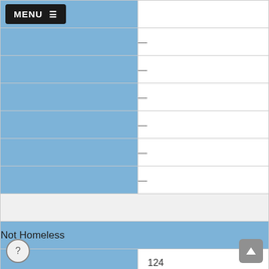| Category | Value |
| --- | --- |
| (menu row) |  |
|  | — |
|  | — |
|  | — |
|  | — |
|  | — |
|  | — |
| Not Homeless |  |
|  | 124 |
|  | — |
|  | — |
|  | — |